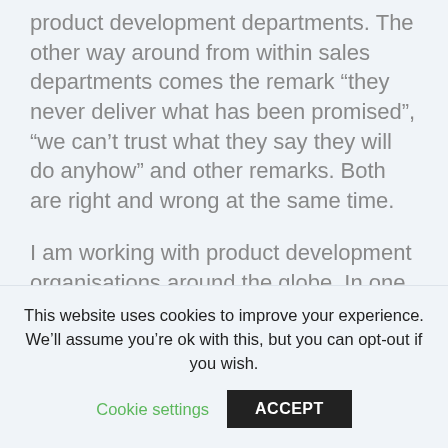product development departments. The other way around from within sales departments comes the remark "they never deliver what has been promised", "we can't trust what they say they will do anyhow" and other remarks. Both are right and wrong at the same time.

I am working with product development organisations around the globe. In one of those organisations we helped to grow a more LeSS Huge organisation, practices and mindset where the true Product Owner had some doubts about sales and found it hampering her quest to maximise value. As this didn't help making
This website uses cookies to improve your experience. We'll assume you're ok with this, but you can opt-out if you wish.
Cookie settings   ACCEPT